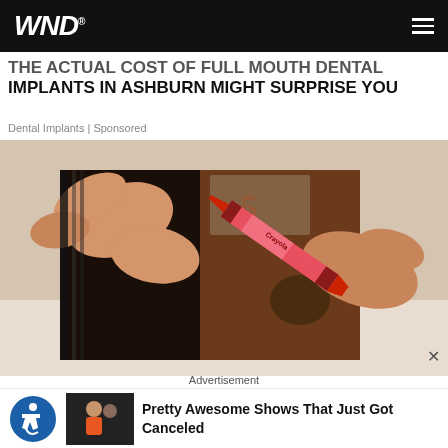WND
THE ACTUAL COST OF FULL MOUTH DENTAL IMPLANTS IN ASHBURN MIGHT SURPRISE YOU
Dental Implants | Sponsored
[Figure (photo): Hands opening a dark leather wallet with a red Crayola crayon inside and currency visible]
×
Advertisement
[Figure (photo): Accessibility icon (blue circle with wheelchair symbol) on the left, thumbnail of two people on the right, with text: Pretty Awesome Shows That Just Got Canceled]